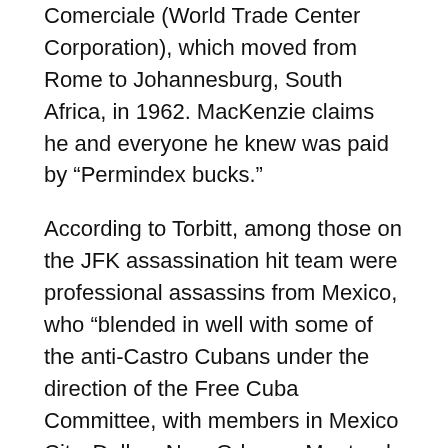Comerciale (World Trade Center Corporation), which moved from Rome to Johannesburg, South Africa, in 1962. MacKenzie claims he and everyone he knew was paid by “Permindex bucks.”
According to Torbitt, among those on the JFK assassination hit team were professional assassins from Mexico, who “blended in well with some of the anti-Castro Cubans under the direction of the Free Cuba Committee, with members in Mexico City, Dallas, New Orleans, Montreal, Miami, Chicago, Kansas City, and Los Angeles.”
The expert shooters from Mexico were selected from 25 to 30 of the most proficient marksmen in the world. The group had been “used by espionage agencies of the U.S. and various countries all over the world for political killings over the past 25 years.”